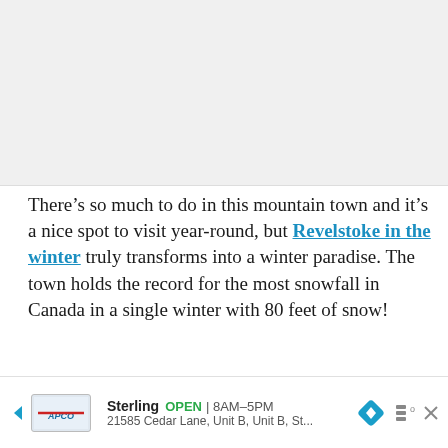[Figure (photo): Placeholder image area at the top of the page, light gray background]
There’s so much to do in this mountain town and it’s a nice spot to visit year-round, but Revelstoke in the winter truly transforms into a winter paradise. The town holds the record for the most snowfall in Canada in a single winter with 80 feet of snow!
The Revelstoke Mountain Resort is a must-visit and… get to…
[Figure (screenshot): Ad bar: Sterling, OPEN 8AM-5PM, 21585 Cedar Lane, Unit B, Unit B, St..., with navigation arrow icon]